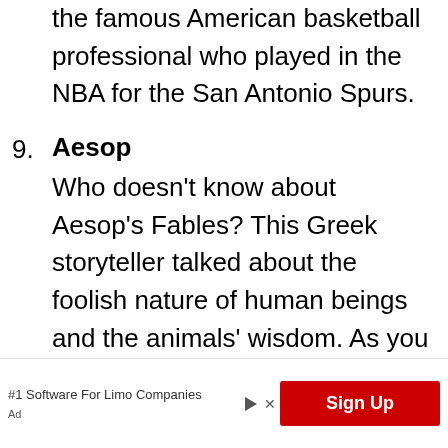the famous American basketball professional who played in the NBA for the San Antonio Spurs.
9. Aesop
Who doesn't know about Aesop's Fables? This Greek storyteller talked about the foolish nature of human beings and the animals' wisdom. As you start raising your pup, you will definitely understand the relevance of his stories.
#1 Software For Limo Companies
Sign Up
Ad